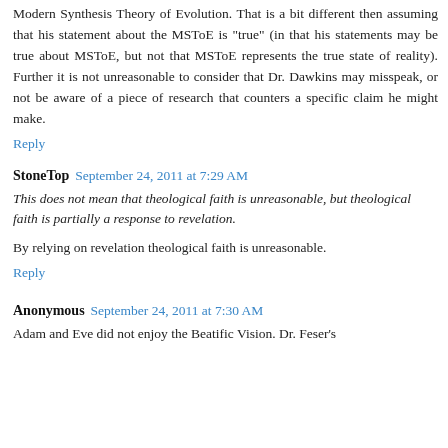Modern Synthesis Theory of Evolution. That is a bit different then assuming that his statement about the MSToE is "true" (in that his statements may be true about MSToE, but not that MSToE represents the true state of reality). Further it is not unreasonable to consider that Dr. Dawkins may misspeak, or not be aware of a piece of research that counters a specific claim he might make.
Reply
StoneTop  September 24, 2011 at 7:29 AM
This does not mean that theological faith is unreasonable, but theological faith is partially a response to revelation.
By relying on revelation theological faith is unreasonable.
Reply
Anonymous  September 24, 2011 at 7:30 AM
Adam and Eve did not enjoy the Beatific Vision. Dr. Feser's